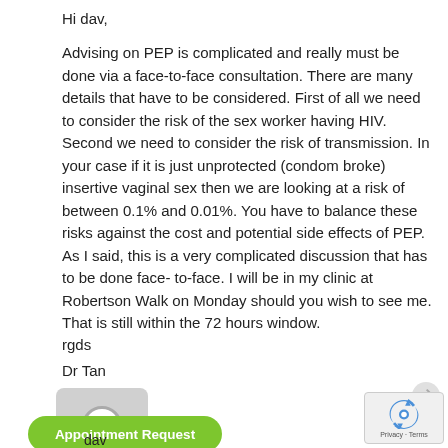Hi dav,
Advising on PEP is complicated and really must be done via a face-to-face consultation. There are many details that have to be considered. First of all we need to consider the risk of the sex worker having HIV. Second we need to consider the risk of transmission. In your case if it is just unprotected (condom broke) insertive vaginal sex then we are looking at a risk of between 0.1% and 0.01%. You have to balance these risks against the cost and potential side effects of PEP. As I said, this is a very complicated discussion that has to be done face-to-face. I will be in my clinic at Robertson Walk on Monday should you wish to see me. That is still within the 72 hours window.
rgds
Dr Tan
[Figure (screenshot): User avatar placeholder box with circular icon]
Appointment Request
dav
[Figure (logo): Google reCAPTCHA badge with Privacy and Terms links]